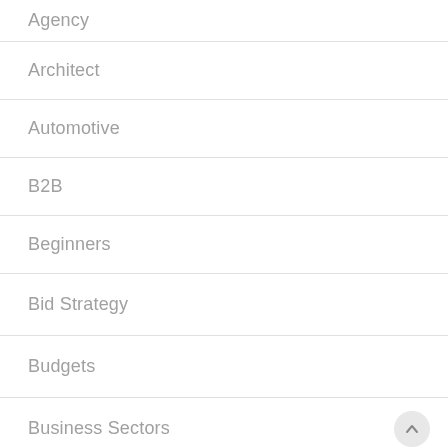Agency
Architect
Automotive
B2B
Beginners
Bid Strategy
Budgets
Business Sectors